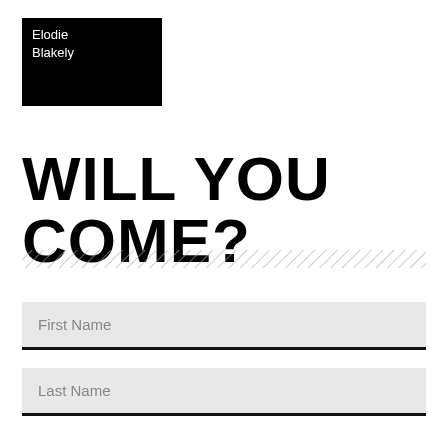[Figure (logo): Elodie Blakely logo — black rectangle with white text reading 'Elodie Blakely']
WILL YOU COME?
[Figure (other): Diagonal hatching/stripe decorative divider bar]
First Name
Last Name